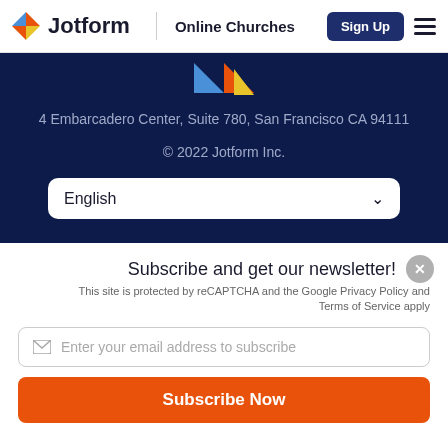Jotform | Online Churches
4 Embarcadero Center, Suite 780, San Francisco CA 94111
© 2022 Jotform Inc.
English
Subscribe and get our newsletter!
This site is protected by reCAPTCHA and the Google Privacy Policy and Terms of Service apply
Enter your email address to subscribe
Subscribe Now